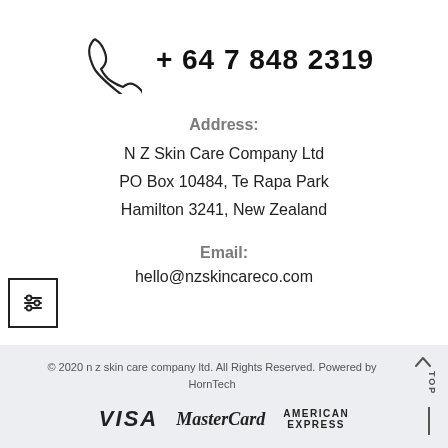[Figure (illustration): Phone handset icon (outline style)]
+ 64 7 848 2319
[Figure (illustration): Filter/sliders icon in a square border]
Address:
N Z Skin Care Company Ltd
PO Box 10484, Te Rapa Park
Hamilton 3241, New Zealand
Email:
hello@nzskincareco.com
© 2020 n z skin care company ltd. All Rights Reserved. Powered by HornTech
[Figure (logo): VISA, MasterCard, American Express payment logos]